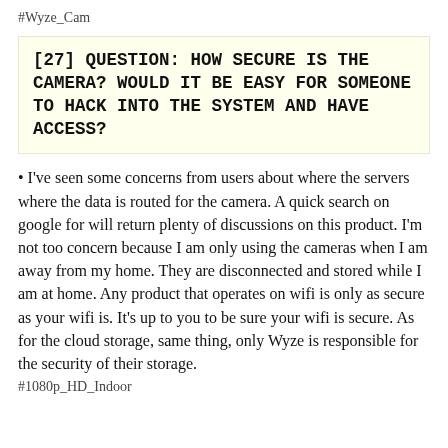#Wyze_Cam
[27] QUESTION: HOW SECURE IS THE CAMERA? WOULD IT BE EASY FOR SOMEONE TO HACK INTO THE SYSTEM AND HAVE ACCESS?
• I've seen some concerns from users about where the servers where the data is routed for the camera. A quick search on google for will return plenty of discussions on this product. I'm not too concern because I am only using the cameras when I am away from my home. They are disconnected and stored while I am at home. Any product that operates on wifi is only as secure as your wifi is. It's up to you to be sure your wifi is secure. As for the cloud storage, same thing, only Wyze is responsible for the security of their storage.
#1080p_HD_Indoor